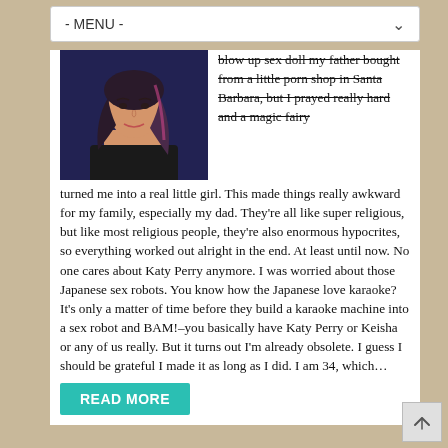- MENU -
[Figure (photo): Photo of a woman with dark hair smiling, blue/dark background]
blow up sex doll my father bought from a little porn shop in Santa Barbara, but I prayed really hard and a magic fairy turned me into a real little girl. This made things really awkward for my family, especially my dad. They're all like super religious, but like most religious people, they're also enormous hypocrites, so everything worked out alright in the end. At least until now. No one cares about Katy Perry anymore. I was worried about those Japanese sex robots. You know how the Japanese love karaoke? It's only a matter of time before they build a karaoke machine into a sex robot and BAM!–you basically have Katy Perry or Keisha or any of us really. But it turns out I'm already obsolete. I guess I should be grateful I made it as long as I did. I am 34, which…
READ MORE